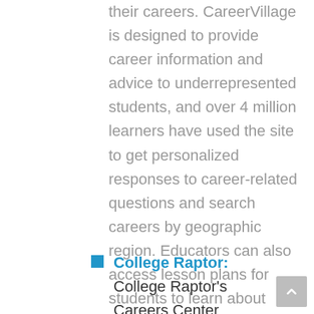their careers. CareerVillage is designed to provide career information and advice to underrepresented students, and over 4 million learners have used the site to get personalized responses to career-related questions and search careers by geographic region. Educators can also access lesson plans for students to learn about careers.
College Raptor: College Raptor's Careers Center provides a variety of career